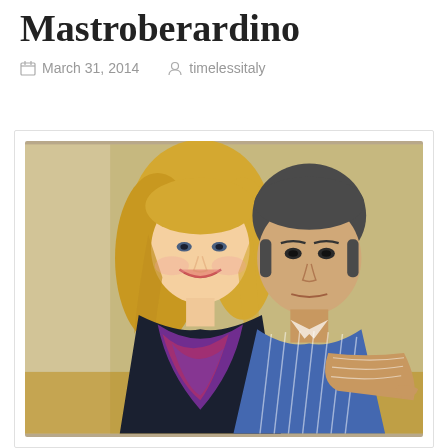Mastroberardino
March 31, 2014   timelessitaly
[Figure (photo): A woman with long blonde curly hair wearing a dark jacket and colorful scarf, smiling, posed with a dark-haired man in a blue striped shirt, both seated at a table indoors.]